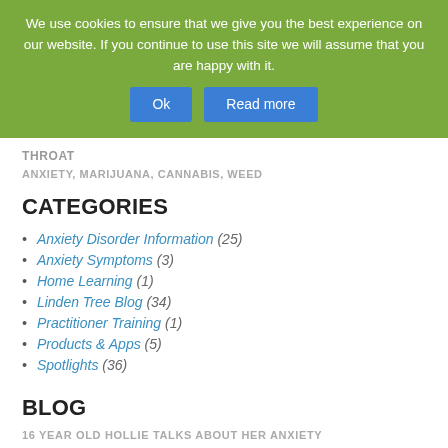We use cookies to ensure that we give you the best experience on our website. If you continue to use this site we will assume that you are happy with it. Ok Read more
THROAT
ANXIETY, MARIJUANA, CANNABIS, WEED
CATEGORIES
Anxiety Disorder Information (25)
Anxiety Symptoms (3)
Home Learning (1)
Linden Tree Blog (34)
Practitioner Training (1)
Products & Apps (5)
Spotlights (36)
BLOG
16 YEAR OLD HOLLIE TALKS ABOUT HER ANXIETY